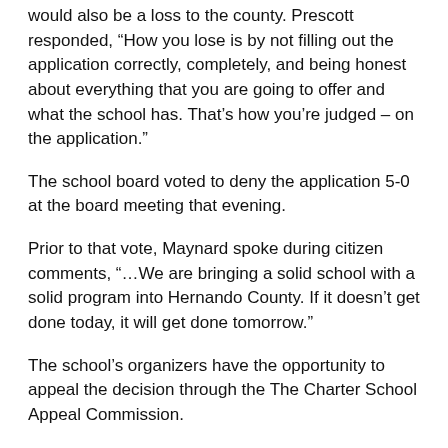would also be a loss to the county. Prescott responded, “How you lose is by not filling out the application correctly, completely, and being honest about everything that you are going to offer and what the school has. That’s how you’re judged – on the application.”
The school board voted to deny the application 5-0 at the board meeting that evening.
Prior to that vote, Maynard spoke during citizen comments, “…We are bringing a solid school with a solid program into Hernando County. If it doesn’t get done today, it will get done tomorrow.”
The school’s organizers have the opportunity to appeal the decision through the The Charter School Appeal Commission.